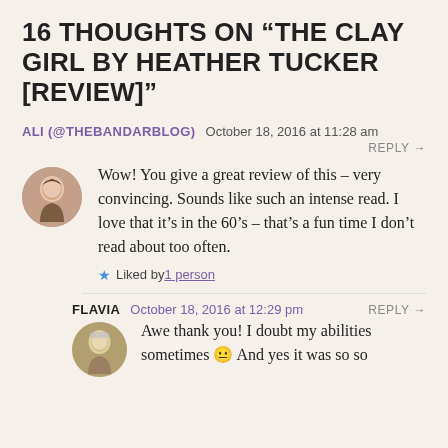16 THOUGHTS ON “THE CLAY GIRL BY HEATHER TUCKER [REVIEW]”
ALI (@THEBANDARBLOG)  October 18, 2016 at 11:28 am  REPLY →
Wow! You give a great review of this – very convincing. Sounds like such an intense read. I love that it’s in the 60’s – that’s a fun time I don’t read about too often.
★ Liked by 1 person
FLAVIA  October 18, 2016 at 12:29 pm  REPLY →
Awe thank you! I doubt my abilities sometimes 😐 And yes it was so so